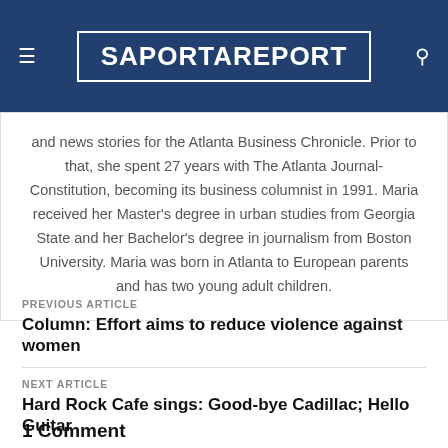SaportaReport
and news stories for the Atlanta Business Chronicle. Prior to that, she spent 27 years with The Atlanta Journal-Constitution, becoming its business columnist in 1991. Maria received her Master's degree in urban studies from Georgia State and her Bachelor's degree in journalism from Boston University. Maria was born in Atlanta to European parents and has two young adult children.
PREVIOUS ARTICLE
Column: Effort aims to reduce violence against women
NEXT ARTICLE
Hard Rock Cafe sings: Good-bye Cadillac; Hello Guitar
1 Comment